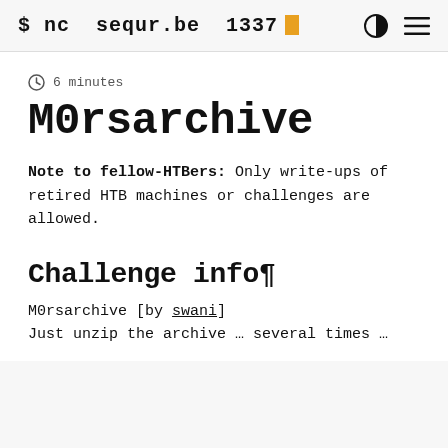$ nc  sequr.be  1337
6 minutes
M0rsarchive
Note to fellow-HTBers: Only write-ups of retired HTB machines or challenges are allowed.
Challenge info¶
M0rsarchive [by swani]
Just unzip the archive … several times …